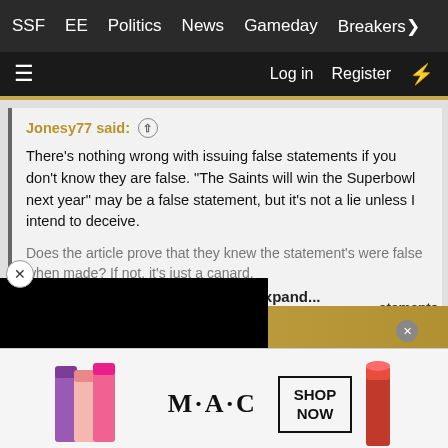SSF  EE  Politics  News  Gameday  Breakers
≡  Log in  Register  ⚡
Jonesy77 said: ↑

There's nothing wrong with issuing false statements if you don't know they are false. "The Saints will win the Superbowl next year" may be a false statement, but it's not a lie unless I intend to deceive.

Does the article prove that they knew the statement's were false when made? If not, it's just a canard.

expand...
atements.
content, tailor your experience an
[Figure (photo): MAC cosmetics advertisement showing colorful lipsticks, MAC logo, and a SHOP NOW box with red lipstick on the right]